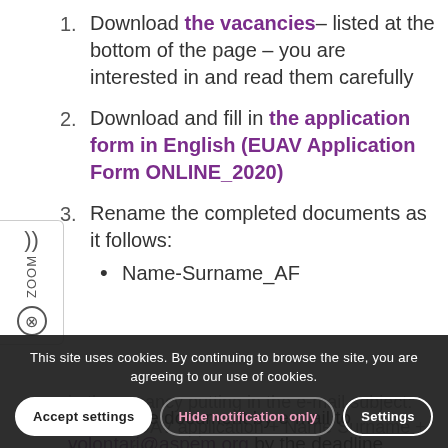1. Download the vacancies – listed at the bottom of the page – you are interested in and read them carefully
2. Download and fill in the application form in English (EUAV Application Form ONLINE_2020)
3. Rename the completed documents as it follows:
Name-Surname_AF
Submit the document by e-mail to volontari@aspem.org by the deadline indicated in the vacancy putting in the e-mail subject: Online EUAV application + Name Surname + Name of Vacancy. Incomplete applications will not be considered.
This site uses cookies. By continuing to browse the site, you are agreeing to our use of cookies.